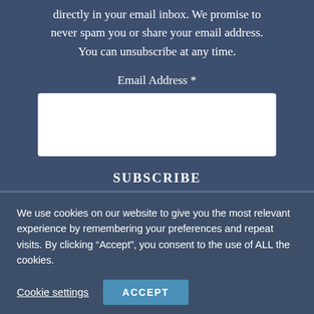directly in your email inbox. We promise to never spam you or share your email address. You can unsubscribe at any time.
Email Address *
[Figure (other): Email address input text field (white rectangle)]
SUBSCRIBE
We use cookies on our website to give you the most relevant experience by remembering your preferences and repeat visits. By clicking “Accept”, you consent to the use of ALL the cookies.
Cookie settings
ACCEPT